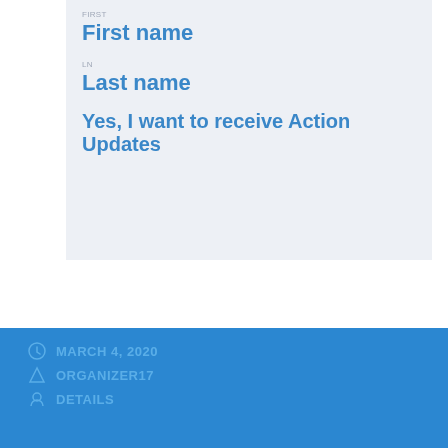First name
Last name
Yes, I want to receive Action Updates
MARCH 4, 2020 | ORGANIZER17 | DETAILS